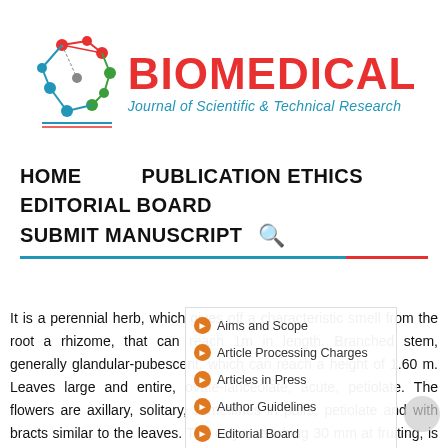[Figure (logo): Biomedical Journal of Scientific & Technical Research logo with molecular graphics and red/blue text]
HOME   PUBLICATION ETHICS
EDITORIAL BOARD
SUBMIT MANUSCRIPT  🔍
Aims and Scope
Article Processing Charges
Articles in Press
Author Guidelines
Editorial Board
It is a perennial herb, which gives off a characteristic smell from the root a rhizome, that can reach 1m in length. Branched stem, generally glandular-pubescent, which can reach a height of 1.60 m. Leaves large and entire, ovate-lanceolate, acute, petiolate. The flowers are axillary, solitary, sometimes in pairs, petiolate and with bracts similar to the leaves. The calyx, reaching 30 mm at fruiting, is pubescent, campanulate and deeply divided into 5 acute,